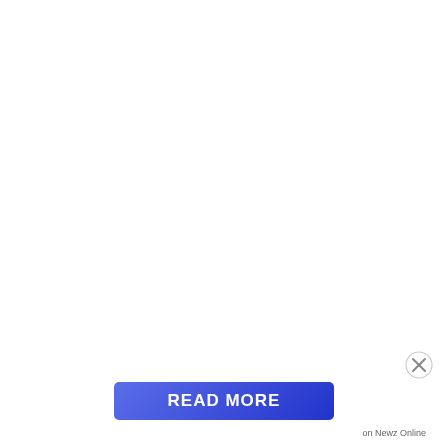[Figure (other): Blue gradient READ MORE button with close (X) circle icon in bottom-right area, and 'on Newz Online' label text below the button area.]
on Newz Online